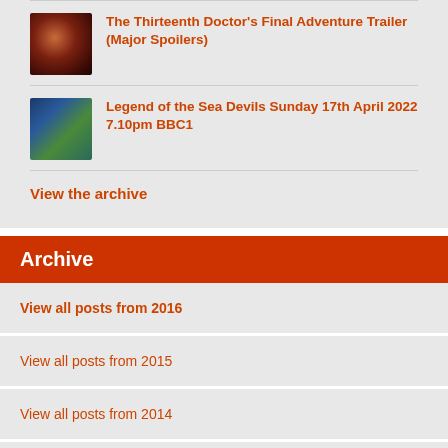The Thirteenth Doctor's Final Adventure Trailer (Major Spoilers)
Legend of the Sea Devils Sunday 17th April 2022 7.10pm BBC1
View the archive
Archive
View all posts from 2016
View all posts from 2015
View all posts from 2014
View all posts from 2013
View all posts from 2012